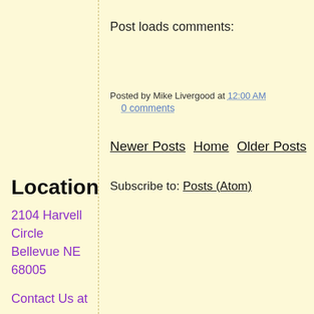Post loads comments:
Posted by Mike Livergood at 12:00 AM
0 comments
Newer Posts  Home  Older Posts
Subscribe to: Posts (Atom)
Location
2104 Harvell Circle
Bellevue NE
68005
Contact Us at